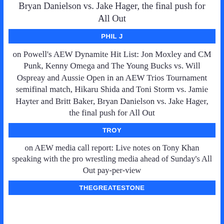Bryan Danielson vs. Jake Hager, the final push for All Out
PHIL J
on Powell’s AEW Dynamite Hit List: Jon Moxley and CM Punk, Kenny Omega and The Young Bucks vs. Will Ospreay and Aussie Open in an AEW Trios Tournament semifinal match, Hikaru Shida and Toni Storm vs. Jamie Hayter and Britt Baker, Bryan Danielson vs. Jake Hager, the final push for All Out
TROY
on AEW media call report: Live notes on Tony Khan speaking with the pro wrestling media ahead of Sunday’s All Out pay-per-view
THEGREATESTONE